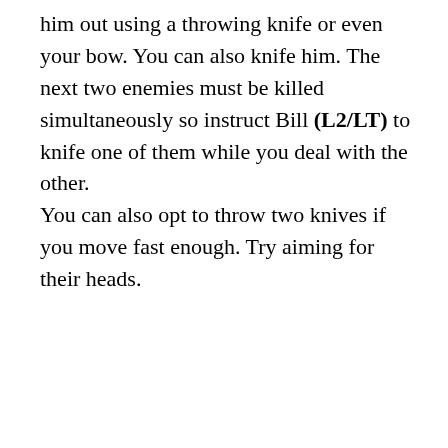him out using a throwing knife or even your bow. You can also knife him. The next two enemies must be killed simultaneously so instruct Bill (L2/LT) to knife one of them while you deal with the other.
You can also opt to throw two knives if you move fast enough. Try aiming for their heads.